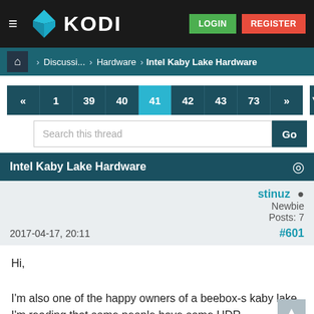[Figure (screenshot): Kodi forum website navigation bar with hamburger menu, Kodi logo, LOGIN and REGISTER buttons]
Discussi... > Hardware > Intel Kaby Lake Hardware
« 1 39 40 41 42 43 73 » (pagination)
Search this thread  Go
Intel Kaby Lake Hardware
stinuz
Newbie
Posts: 7
2017-04-17, 20:11   #601
Hi,

I'm also one of the happy owners of a beebox-s kaby lake. I'm reading that some people have some HDR